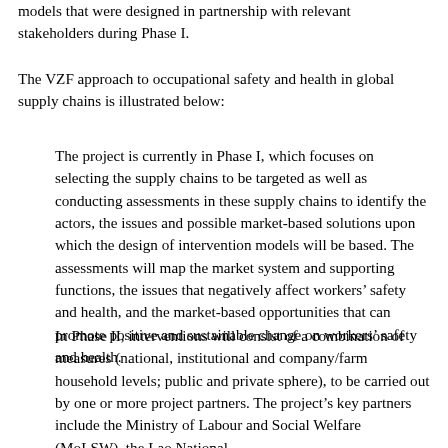models that were designed in partnership with relevant stakeholders during Phase I.
The VZF approach to occupational safety and health in global supply chains is illustrated below:
The project is currently in Phase I, which focuses on selecting the supply chains to be targeted as well as conducting assessments in these supply chains to identify the actors, the issues and possible market-based solutions upon which the design of intervention models will be based. The assessments will map the market system and supporting functions, the issues that negatively affect workers' safety and health, and the market-based opportunities that can promote positive and sustainable change on workers' safety and health.
In Phase II, interventions will consist of a combination of measures (national, institutional and company/farm household levels; public and private sphere), to be carried out by one or more project partners. The project's key partners include the Ministry of Labour and Social Welfare (MoLSW), the Lao National